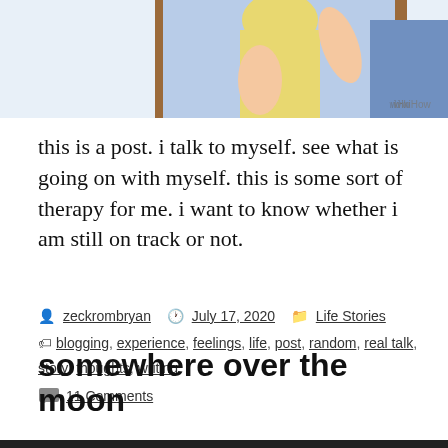[Figure (illustration): Cropped illustration of a person in a yellow shirt in front of a window with a WikiHow watermark in the bottom right corner]
this is a post. i talk to myself. see what is going on with myself. this is some sort of therapy for me. i want to know whether i am still on track or not.
By zeckrombryan  July 17, 2020  Life Stories
blogging, experience, feelings, life, post, random, real talk, story, thoughts, writing
11 Comments
somewhere over the moon